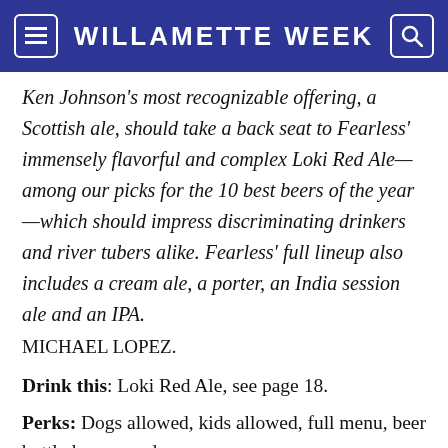WILLAMETTE WEEK
Ken Johnson's most recognizable offering, a Scottish ale, should take a back seat to Fearless' immensely flavorful and complex Loki Red Ale—among our picks for the 10 best beers of the year—which should impress discriminating drinkers and river tubers alike. Fearless' full lineup also includes a cream ale, a porter, an India session ale and an IPA.
MICHAEL LOPEZ.
Drink this: Loki Red Ale, see page 18.
Perks: Dogs allowed, kids allowed, full menu, beer bottled or canned, rares.